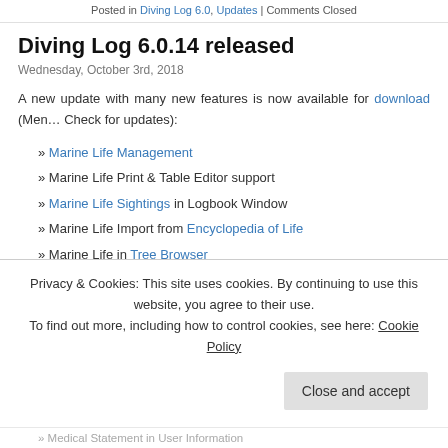Posted in Diving Log 6.0, Updates | Comments Closed
Diving Log 6.0.14 released
Wednesday, October 3rd, 2018
A new update with many new features is now available for download (Menu Check for updates):
» Marine Life Management
» Marine Life Print & Table Editor support
» Marine Life Sightings in Logbook Window
» Marine Life Import from Encyclopedia of Life
» Marine Life in Tree Browser
» New Logbook fields: Desaturation-, No Fly- & Scrubber Time
» New Logbook field options: Water Type (Chlorinated), Entry Type (Aquarium, Jetty, Ice) & Supply Type (PSCR, Sidemount, Surface)
Privacy & Cookies: This site uses cookies. By continuing to use this website, you agree to their use. To find out more, including how to control cookies, see here: Cookie Policy
» Medical Statement in User Information